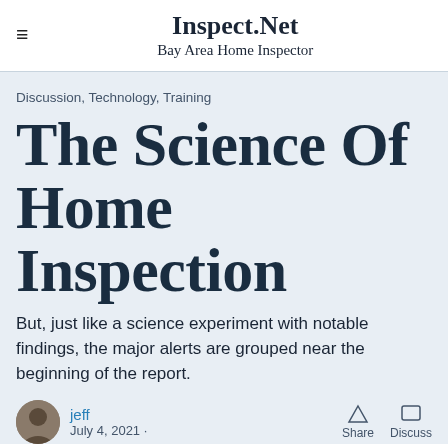Inspect.Net
Bay Area Home Inspector
Discussion, Technology, Training
The Science Of Home Inspection
But, just like a science experiment with notable findings, the major alerts are grouped near the beginning of the report.
jeff
July 4, 2021 · Share Discuss